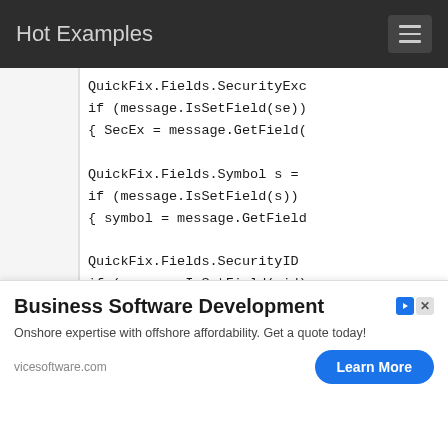Hot Examples
QuickFix.Fields.SecurityExc
if (message.IsSetField(se))
{ SecEx = message.GetField(

QuickFix.Fields.Symbol s =
if (message.IsSetField(s))
{ symbol = message.GetField

QuickFix.Fields.SecurityID
if (message.IsSetField(sid)
{ secID = message.GetField(

updatePrices(SecEx, symbol,
}
.catch (Exception ex)
[Figure (other): Advertisement banner: Business Software Development. Onshore expertise with offshore affordability. Get a quote today! vicesoftware.com. Learn More button.]